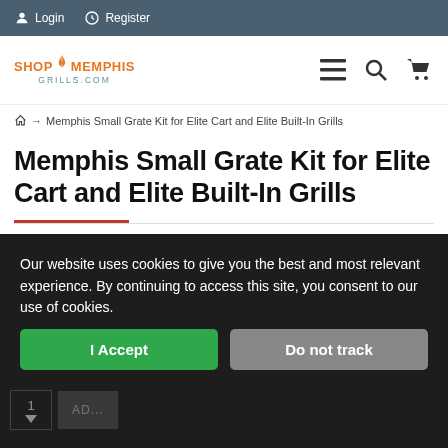Login  Register
[Figure (logo): ShopMemphisGrills.com logo with flame icon, navigation icons for menu, search, and cart]
Home → Memphis Small Grate Kit for Elite Cart and Elite Built-In Grills
Memphis Small Grate Kit for Elite Cart and Elite Built-In Grills
Our website uses cookies to give you the best and most relevant experience. By continuing to access this site, you consent to our use of cookies.
I Accept  Do not track